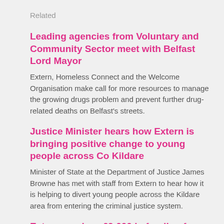Related
Leading agencies from Voluntary and Community Sector meet with Belfast Lord Mayor
Extern, Homeless Connect and the Welcome Organisation make call for more resources to manage the growing drugs problem and prevent further drug-related deaths on Belfast's streets.
Justice Minister hears how Extern is bringing positive change to young people across Co Kildare
Minister of State at the Department of Justice James Browne has met with staff from Extern to hear how it is helping to divert young people across the Kildare area from entering the criminal justice system.
Extern receives £9,000 in funding from Moy Park
Extern Northern Ireland has been awarded funding by